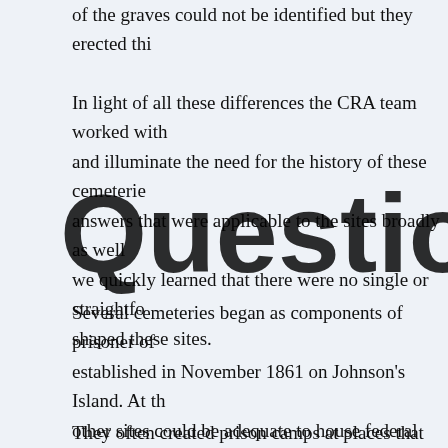of the graves could not be identified but they erected thi
In light of all these differences the CRA team worked with and illuminate the need for the history of these cemeterie answers that were applicable to the sites broadly as well we quickly learned that there were no single or straightfo shaped these sites.
[Figure (other): Large bold watermark text reading 'Questions' overlaid on the page]
Several cemeteries began as components of prisoner of established in November 1861 on Johnson's Island. At th other sites could be adequate to house federal prisoners would be held in Union prison camps. Military engageme at a time and so the Union scrambled to find a place to h
They often created prison camps at places that had serv